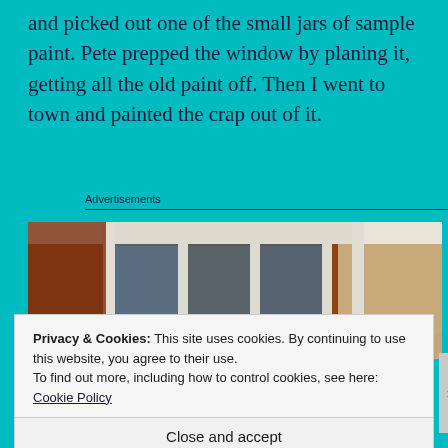and picked out one of the small jars of sample paint. Pete prepped the window by planing it, getting all the old paint off. Then I went to town and painted the crap out of it.
Advertisements
[Figure (photo): Close-up photograph of a white-painted window frame with multiple panes, showing wooden window structure against a wall]
Privacy & Cookies: This site uses cookies. By continuing to use this website, you agree to their use.
To find out more, including how to control cookies, see here: Cookie Policy
Close and accept